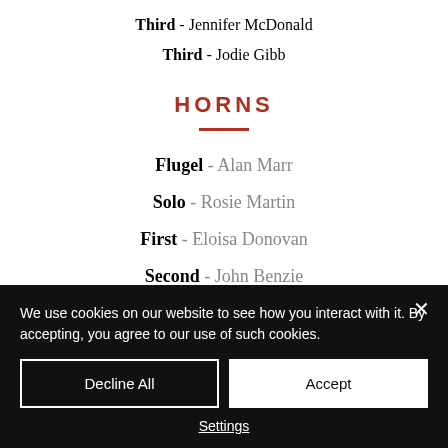Third - Jennifer McDonald
Third - Jodie Gibb
HORNS
Flugel - Alan Marr
Solo - Rosie Martin
First - Eloisa Donovan
Second - John Benzie
We use cookies on our website to see how you interact with it. By accepting, you agree to our use of such cookies.
Decline All
Accept
Settings